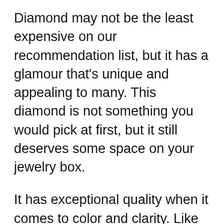Diamond may not be the least expensive on our recommendation list, but it has a glamour that's unique and appealing to many. This diamond is not something you would pick at first, but it still deserves some space on your jewelry box.
It has exceptional quality when it comes to color and clarity. Like other James Allen heart-shaped diamonds, it highlights an eye-catching colorless quality that you cannot resist. It immaculately glows with enough light surrounding it, and its blemishes are less apparent.
The dark spots you see at the center are due to the arrangement of its facets. Instead of being a source of distraction, these shadows make the